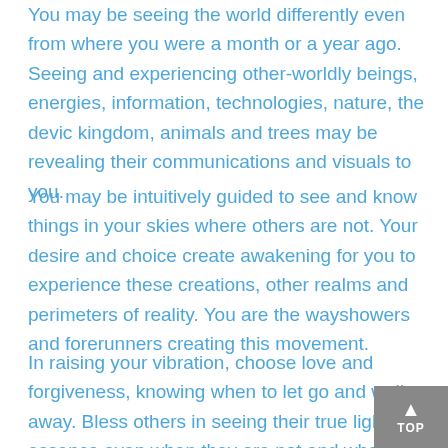You may be seeing the world differently even from where you were a month or a year ago. Seeing and experiencing other-worldly beings, energies, information, technologies, nature, the devic kingdom, animals and trees may be revealing their communications and visuals to you.
You may be intuitively guided to see and know things in your skies where others are not. Your desire and choice create awakening for you to experience these creations, other realms and perimeters of reality. You are the wayshowers and forerunners creating this movement.
In raising your vibration, choose love and forgiveness, knowing when to let go and walk away. Bless others in seeing their true light essence even when they are not and when they are being hurtful